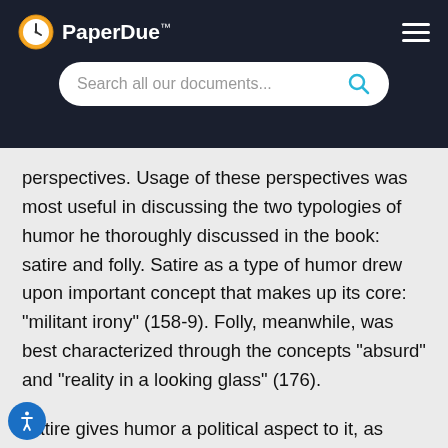PaperDue™
perspectives. Usage of these perspectives was most useful in discussing the two typologies of humor he thoroughly discussed in the book: satire and folly. Satire as a type of humor drew upon important concept that makes up its core: "militant irony" (158-9). Folly, meanwhile, was best characterized through the concepts "absurd" and "reality in a looking glass" (176).
Satire gives humor a political aspect to it, as illustrated in the term "military irony," which Berger